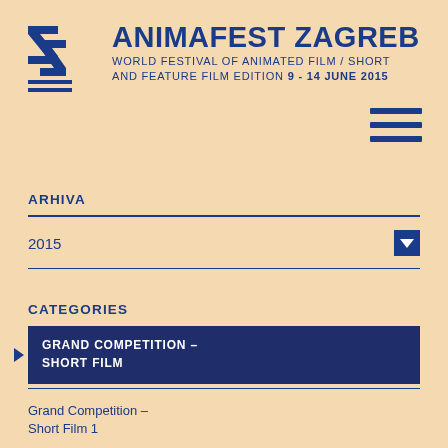[Figure (logo): Animafest Zagreb logo with stylized Z letters in blue]
ANIMAFEST ZAGREB World Festival of Animated Film / Short and Feature Film Edition 9 - 14 June 2015
[Figure (other): Hamburger menu icon with three blue horizontal lines]
ARHIVA
2015
CATEGORIES
GRAND COMPETITION – SHORT FILM
Grand Competition – Short Film 1